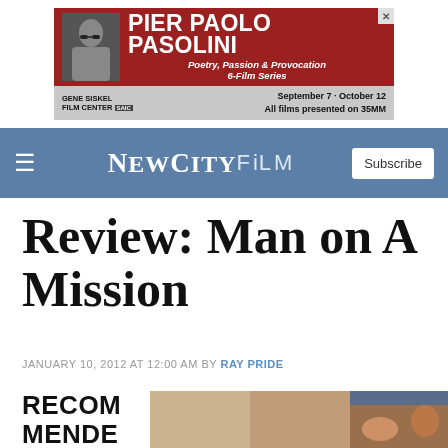[Figure (illustration): Advertisement banner for Pier Paolo Pasolini 6-Film Series at Gene Siskel Film Center, September 7 - October 12, all films on 35MM]
NEWCITYFILM — Subscribe
Review: Man on A Mission
JANUARY 10, 2012 AT 12:00 AM BY RAY PRIDE
RECOMMENDED
[Figure (photo): Film still showing people, with Newcity badge overlay]